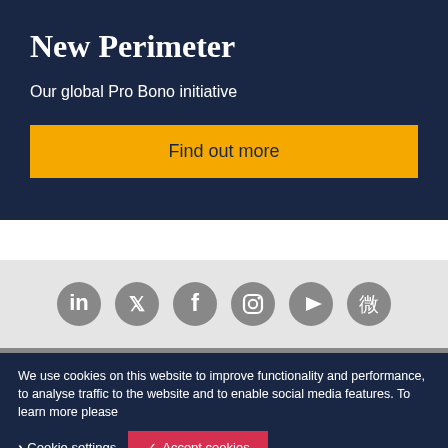New Perimeter
Our global Pro Bono initiative
Find out more
[Figure (infographic): Social media icons row: LinkedIn, Twitter, Facebook, Instagram, YouTube, WeChat — all grey circular icons]
We use cookies on this website to improve functionality and performance, to analyse traffic to the website and to enable social media features. To learn more please
Cookie settings
Accept cookies